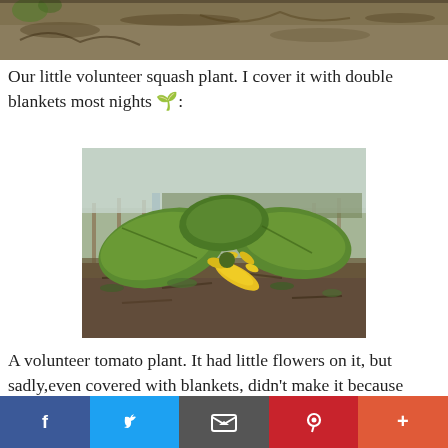[Figure (photo): Top portion of a garden photo showing mulch and dried vegetation on the ground]
Our little volunteer squash plant. I cover it with double blankets most nights 🌱:
[Figure (photo): A volunteer squash plant in a garden with large green leaves and yellow squash/zucchini fruits visible in the center, surrounded by mulch and small weeds]
A volunteer tomato plant. It had little flowers on it, but sadly,even covered with blankets, didn't make it because
f  🐦  ✉  Pinterest  +